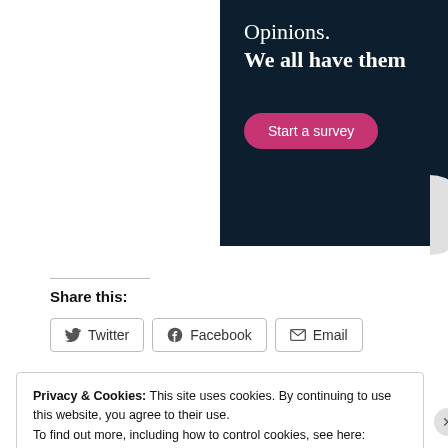[Figure (other): Dark navy banner with white serif text reading 'Opinions. We all have them' and a pink 'Start a survey' button]
Share this:
[Figure (other): Three social sharing buttons: Twitter, Facebook, Email]
Privacy & Cookies: This site uses cookies. By continuing to use this website, you agree to their use. To find out more, including how to control cookies, see here: Cookie Policy
Close and accept